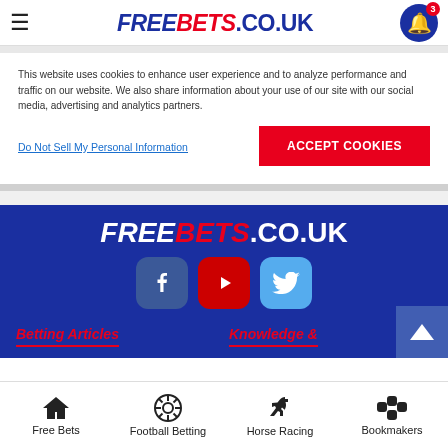FREEBETS.CO.UK — navigation header with hamburger menu and notification bell (3)
This website uses cookies to enhance user experience and to analyze performance and traffic on our website. We also share information about your use of our site with our social media, advertising and analytics partners.
Do Not Sell My Personal Information | Accept Cookies
[Figure (logo): FREEBETS.CO.UK logo in footer on dark blue background]
[Figure (infographic): Social media icons: Facebook, YouTube, Twitter]
Betting Articles
Knowledge &
Free Bets | Football Betting | Horse Racing | Bookmakers